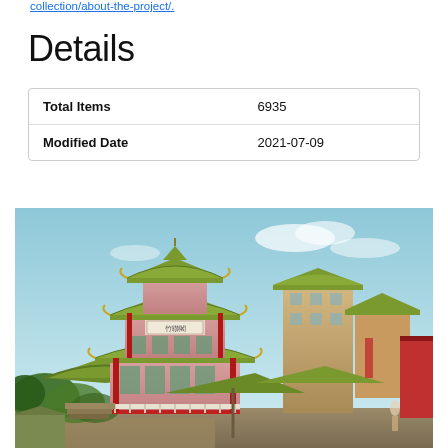collection/about-the-project/.
Details
| Total Items | 6935 |
| Modified Date | 2021-07-09 |
[Figure (photo): Historical colorized photograph of traditional Chinese pagoda-style buildings with multi-tiered curved green roofs, red walls, and surrounding structures in what appears to be a Chinese city streetscape.]